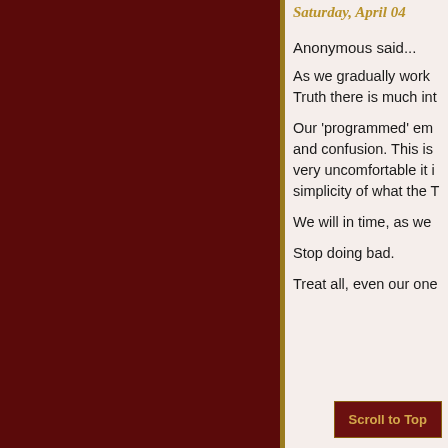Saturday, April 04
Anonymous said...
As we gradually work... Truth there is much int...
Our 'programmed' em... and confusion. This is very uncomfortable it i... simplicity of what the T...
We will in time, as we...
Stop doing bad.
Treat all, even our one...
Scroll to Top